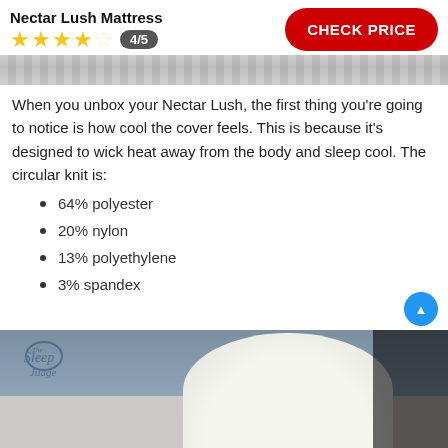Nectar Lush Mattress
4/5
CHECK PRICE
[Figure (photo): Close-up strip of mattress fabric texture, grey/white knit surface]
When you unbox your Nectar Lush, the first thing you're going to notice is how cool the cover feels. This is because it's designed to wick heat away from the body and sleep cool. The circular knit is:
64% polyester
20% nylon
13% polyethylene
3% spandex
[Figure (photo): Photo of a white mattress on a bed frame in a bedroom with a blue-grey wall and The Sleep Judge watermark logo]